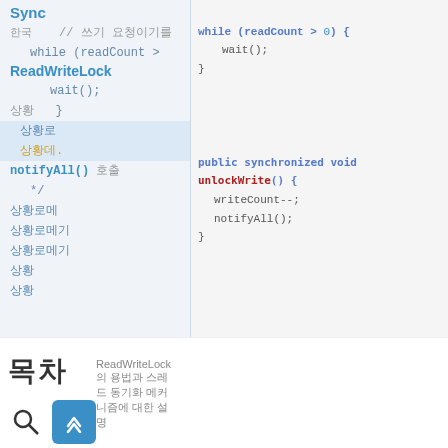[Figure (screenshot): Screenshot of a code editor/documentation viewer showing Java ReadWriteLock code with a sidebar navigation panel and a code panel. The sidebar shows navigation items in Chinese and English including 'Sync', 'ReadWriteLock', and various method names. The code panel shows Java synchronized methods including unlockWrite() with writeCount-- and notifyAll() calls.]
ReadWriteLock相关内容和使用说明文字描述
ReadWriteLock的用法及相关线程同步机制的说明